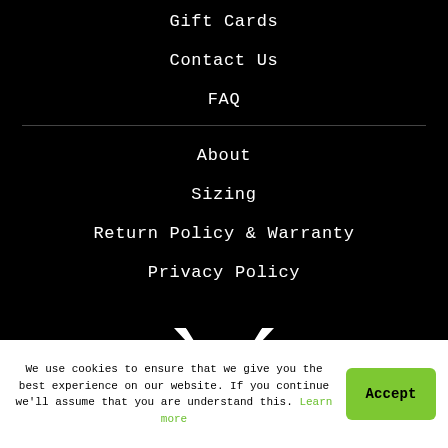Gift Cards
Contact Us
FAQ
About
Sizing
Return Policy & Warranty
Privacy Policy
[Figure (logo): White V-shaped logo / brand mark on black background]
We use cookies to ensure that we give you the best experience on our website. If you continue we'll assume that you are understand this. Learn more